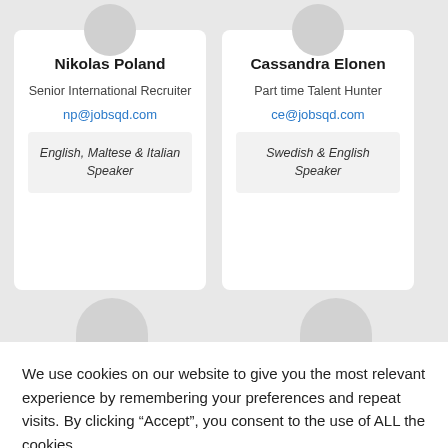Nikolas Poland
Senior International Recruiter
np@jobsqd.com
English, Maltese & Italian Speaker
Cassandra Elonen
Part time Talent Hunter
ce@jobsqd.com
Swedish & English Speaker
We use cookies on our website to give you the most relevant experience by remembering your preferences and repeat visits. By clicking “Accept”, you consent to the use of ALL the cookies.
Cookie settings
ACCEPT